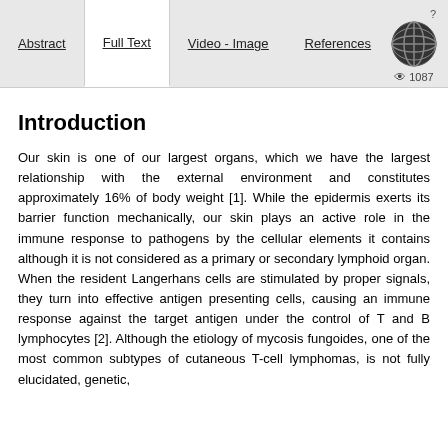Abstract | Full Text | Video - Image | References | 1087 views
Introduction
Our skin is one of our largest organs, which we have the largest relationship with the external environment and constitutes approximately 16% of body weight [1]. While the epidermis exerts its barrier function mechanically, our skin plays an active role in the immune response to pathogens by the cellular elements it contains although it is not considered as a primary or secondary lymphoid organ. When the resident Langerhans cells are stimulated by proper signals, they turn into effective antigen presenting cells, causing an immune response against the target antigen under the control of T and B lymphocytes [2]. Although the etiology of mycosis fungoides, one of the most common subtypes of cutaneous T-cell lymphomas, is not fully elucidated, genetic,